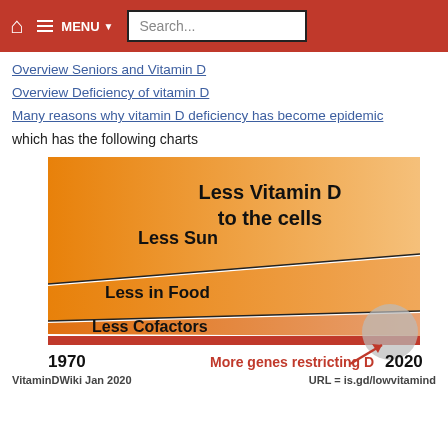MENU  Search...
Overview Seniors and Vitamin D
Overview Deficiency of vitamin D
Many reasons why vitamin D deficiency has become epidemic
which has the following charts
[Figure (infographic): Wedge infographic showing factors contributing to Less Vitamin D to the cells (1970-2020): Less Sun (top wedge, largest), Less in Food (middle wedge), Less Cofactors (bottom wedge), and More genes restricting D (red arrow at bottom), converging from left to right. Labeled 1970 on left and 2020 on right. VitaminDWiki Jan 2020, URL = is.gd/lowvitamind]
VitaminDWiki Jan 2020    URL = is.gd/lowvitamind